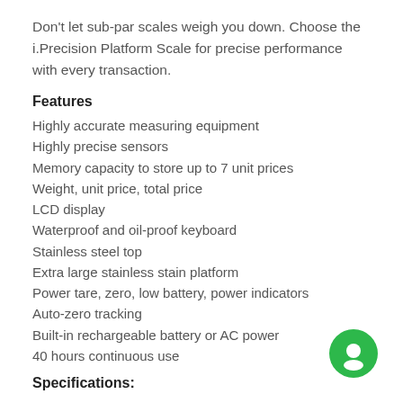Don't let sub-par scales weigh you down. Choose the i.Precision Platform Scale for precise performance with every transaction.
Features
Highly accurate measuring equipment
Highly precise sensors
Memory capacity to store up to 7 unit prices
Weight, unit price, total price
LCD display
Waterproof and oil-proof keyboard
Stainless steel top
Extra large stainless stain platform
Power tare, zero, low battery, power indicators
Auto-zero tracking
Built-in rechargeable battery or AC power
40 hours continuous use
Specifications: